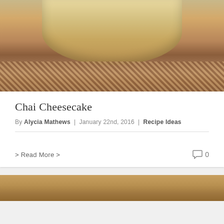[Figure (photo): Photo of a chai cheesecake on a decorative patterned mat and wooden surface, showing the top and side of the cheesecake]
Chai Cheesecake
By Alycia Mathews | January 22nd, 2016 | Recipe Ideas
> Read More >
0
[Figure (photo): Partial photo of a casserole or baked dish visible at the bottom of the page]